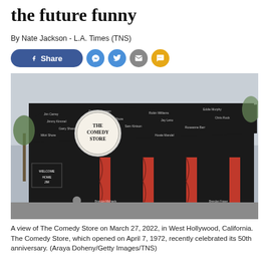the future funny
By Nate Jackson - L.A. Times (TNS)
[Figure (other): Social media sharing buttons: Facebook Share, Messenger, Twitter, Email, SMS]
[Figure (photo): A view of The Comedy Store building exterior on March 27, 2022, in West Hollywood, California. The building is black with white signatures covering it, red curtains, and a round sign reading 'THE COMEDY STORE'.]
A view of The Comedy Store on March 27, 2022, in West Hollywood, California. The Comedy Store, which opened on April 7, 1972, recently celebrated its 50th anniversary. (Araya Doheny/Getty Images/TNS)